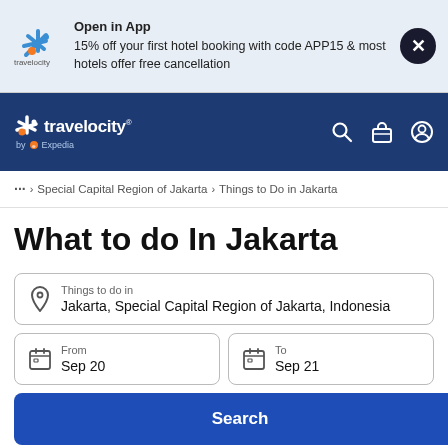[Figure (screenshot): Travelocity app promotion banner with logo, text about 15% off first hotel booking with code APP15 and free cancellation, and a close button]
[Figure (screenshot): Travelocity navigation bar with logo, by Expedia text, search icon, briefcase icon, and user account icon]
... > Special Capital Region of Jakarta > Things to Do in Jakarta
What to do In Jakarta
Things to do in
Jakarta, Special Capital Region of Jakarta, Indonesia
From
Sep 20
To
Sep 21
Search